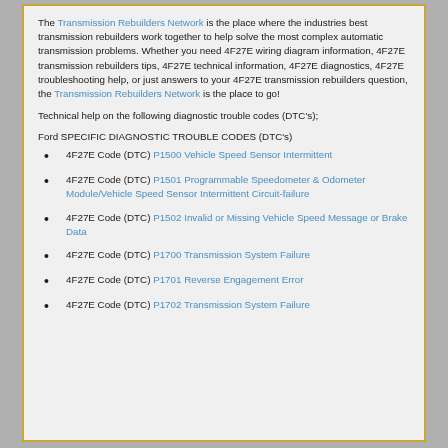The Transmission Rebuilders Network is the place where the industries best transmission rebuilders work together to help solve the most complex automatic transmission problems. Whether you need 4F27E wiring diagram information, 4F27E transmission rebuilders tips, 4F27E technical information, 4F27E diagnostics, 4F27E troubleshooting help, or just answers to your 4F27E transmission rebuilders question, the Transmission Rebuilders Network is the place to go!
Technical help on the following diagnostic trouble codes (DTC's);
Ford SPECIFIC DIAGNOSTIC TROUBLE CODES (DTC's)
4F27E Code (DTC) P1500 Vehicle Speed Sensor Intermittent
4F27E Code (DTC) P1501 Programmable Speedometer & Odometer Module/Vehicle Speed Sensor Intermittent Circuit-failure
4F27E Code (DTC) P1502 Invalid or Missing Vehicle Speed Message or Brake Data
4F27E Code (DTC) P1700 Transmission System Failure
4F27E Code (DTC) P1701 Reverse Engagement Error
4F27E Code (DTC) P1702 Transmission System Failure